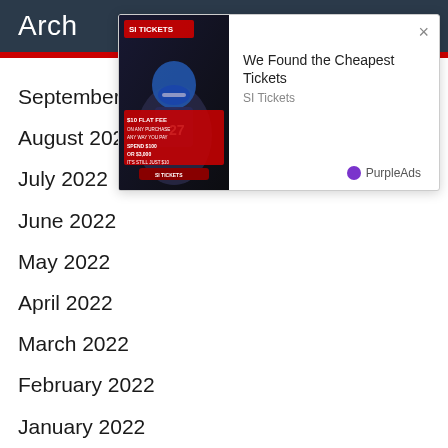Arch
[Figure (screenshot): Advertisement overlay showing SI Tickets ad with football player image and text 'We Found the Cheapest Tickets', with PurpleAds branding]
September 2022
August 2022
July 2022
June 2022
May 2022
April 2022
March 2022
February 2022
January 2022
December 2021